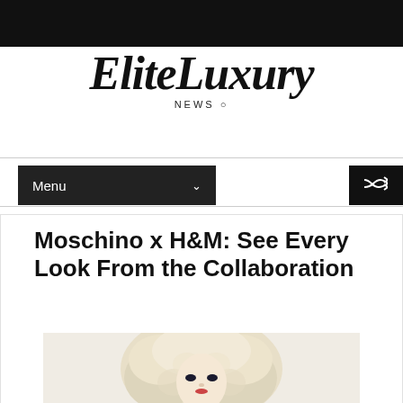EliteLuxury NEWS
Menu
Moschino x H&M: See Every Look From the Collaboration
[Figure (photo): A figure with a large blonde curly wig, wearing dramatic makeup, from the Moschino x H&M collaboration campaign.]